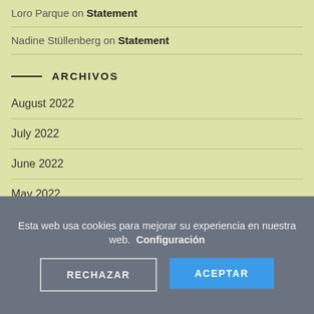Loro Parque on Statement
Nadine Stüllenberg on Statement
ARCHIVOS
August 2022
July 2022
June 2022
May 2022
Esta web usa cookies para mejorar su experiencia en nuestra web. Configuración
RECHAZAR
ACEPTAR